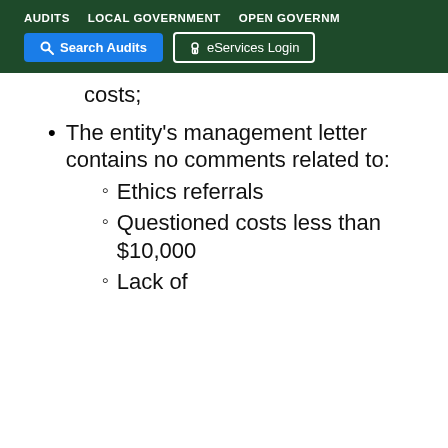AUDITS   LOCAL GOVERNMENT   OPEN GOVERNMENT
costs;
The entity's management letter contains no comments related to:
Ethics referrals
Questioned costs less than $10,000
Lack of